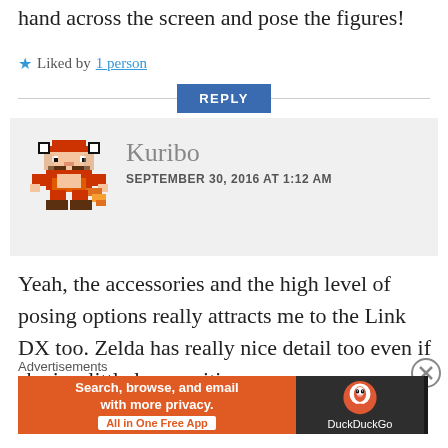hand across the screen and pose the figures!
★ Liked by 1 person
REPLY
Kuribo
SEPTEMBER 30, 2016 AT 1:12 AM
Yeah, the accessories and the high level of posing options really attracts me to the Link DX too. Zelda has really nice detail too even if she is a little less exciting.
Advertisements
[Figure (infographic): DuckDuckGo advertisement banner: orange left section with text 'Search, browse, and email with more privacy. All in One Free App', dark right section with DuckDuckGo duck logo and 'DuckDuckGo' text]